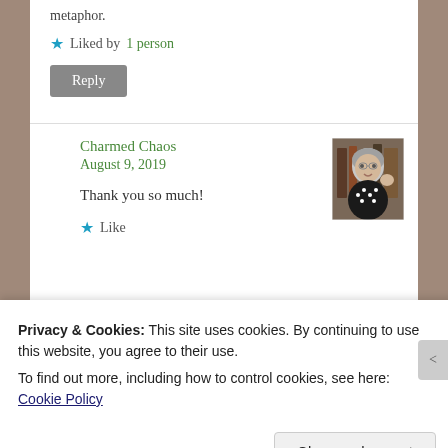metaphor.
★ Liked by 1 person
Reply
Charmed Chaos
August 9, 2019
Thank you so much!
★ Like
Privacy & Cookies: This site uses cookies. By continuing to use this website, you agree to their use.
To find out more, including how to control cookies, see here: Cookie Policy
Close and accept